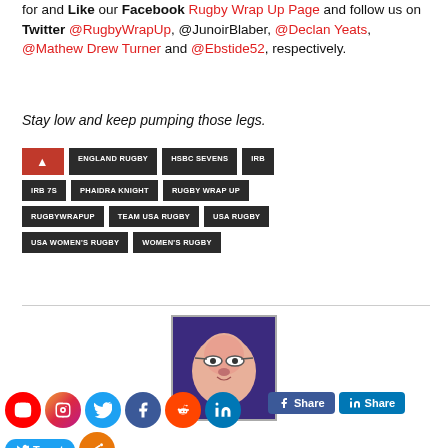for and Like our Facebook Rugby Wrap Up Page and follow us on Twitter @RugbyWrapUp, @JunoirBlaber, @Declan Yeats, @Mathew Drew Turner and @Ebstide52, respectively.
Stay low and keep pumping those legs.
ENGLAND RUGBY
HSBC SEVENS
IRB
IRB 7S
PHAIDRA KNIGHT
RUGBY WRAP UP
RUGBYWRAPUP
TEAM USA RUGBY
USA RUGBY
USA WOMEN'S RUGBY
WOMEN'S RUGBY
[Figure (illustration): Avatar/profile image on purple background showing a cartoon face with glasses]